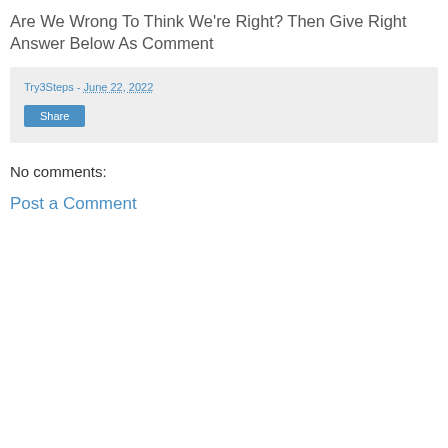Are We Wrong To Think We're Right? Then Give Right Answer Below As Comment
Try3Steps - June 22, 2022
Share
No comments:
Post a Comment